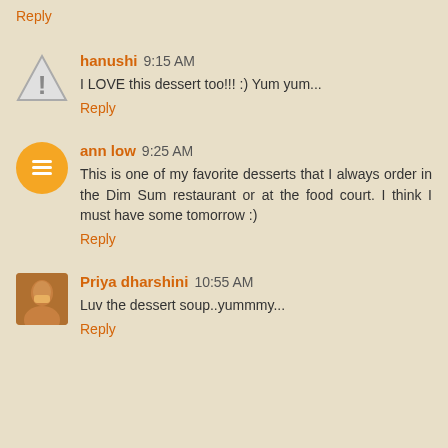Reply
hanushi 9:15 AM
I LOVE this dessert too!!! :) Yum yum...
Reply
ann low 9:25 AM
This is one of my favorite desserts that I always order in the Dim Sum restaurant or at the food court. I think I must have some tomorrow :)
Reply
Priya dharshini 10:55 AM
Luv the dessert soup..yummmy...
Reply